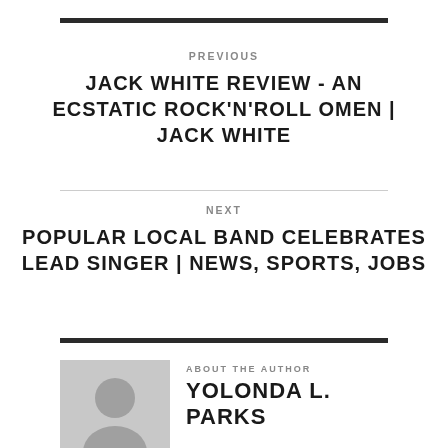PREVIOUS
JACK WHITE REVIEW - AN ECSTATIC ROCK'N'ROLL OMEN | JACK WHITE
NEXT
POPULAR LOCAL BAND CELEBRATES LEAD SINGER | NEWS, SPORTS, JOBS
ABOUT THE AUTHOR
YOLONDA L. PARKS